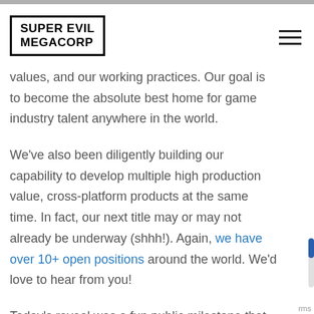SUPER EVIL MEGACORP — navigation header
[Figure (logo): Super Evil Megacorp logo: bold black uppercase text in a rectangular border box]
values, and our working practices. Our goal is to become the absolute best home for game industry talent anywhere in the world.
We've also been diligently building our capability to develop multiple high production value, cross-platform products at the same time. In fact, our next title may or may not already be underway (shhh!). Again, we have over 10+ open positions around the world. We'd love to hear from you!
Today's reveal was a fun public milestone that we're definitely excited about. But, I'm even